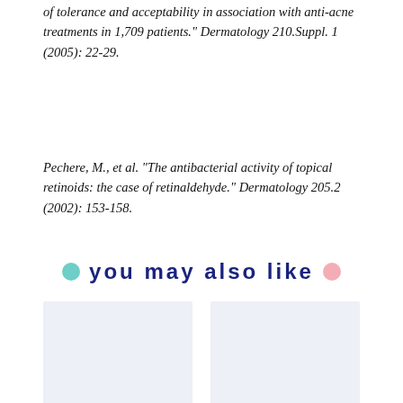of tolerance and acceptability in association with anti-acne treatments in 1,709 patients." Dermatology 210.Suppl. 1 (2005): 22-29.
Pechere, M., et al. "The antibacterial activity of topical retinoids: the case of retinaldehyde." Dermatology 205.2 (2002): 153-158.
you may also like
[Figure (other): Two placeholder image cards side by side with light blue-grey background, part of a 'you may also like' recommendation section.]